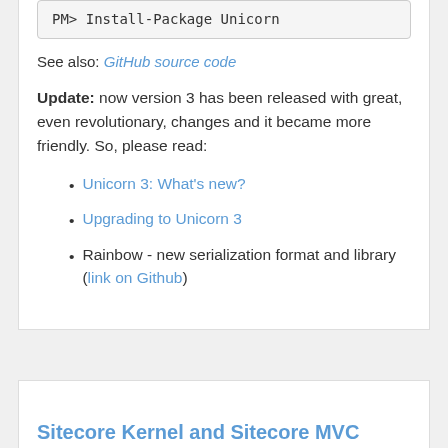PM> Install-Package Unicorn
See also: GitHub source code
Update: now version 3 has been released with great, even revolutionary, changes and it became more friendly. So, please read:
Unicorn 3: What's new?
Upgrading to Unicorn 3
Rainbow - new serialization format and library (link on Github)
Sitecore Kernel and Sitecore MVC